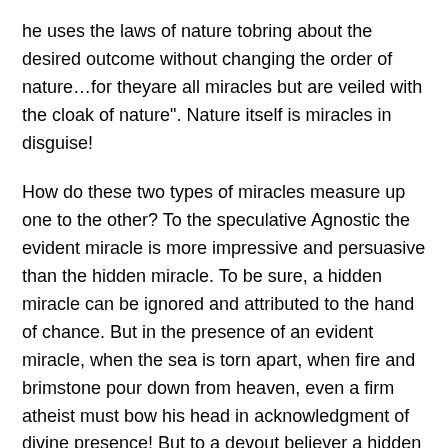he uses the laws of nature tobring about the desired outcome without changing the order of nature…for theyare all miracles but are veiled with the cloak of nature". Nature itself is miracles in disguise!
How do these two types of miracles measure up one to the other? To the speculative Agnostic the evident miracle is more impressive and persuasive than the hidden miracle. To be sure, a hidden miracle can be ignored and attributed to the hand of chance. But in the presence of an evident miracle, when the sea is torn apart, when fire and brimstone pour down from heaven, even a firm atheist must bow his head in acknowledgment of divine presence! But to a devout believer a hidden miracle is greater than an outright violation of the